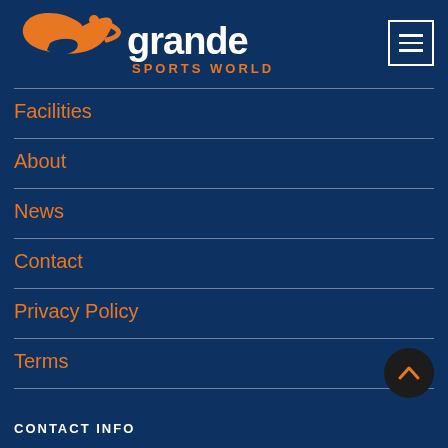[Figure (logo): Grande Sports World logo with orange swoosh G graphic and white 'grande' text with orange 'SPORTS WORLD' subtitle]
Facilities
About
News
Contact
Privacy Policy
Terms
CONTACT INFO